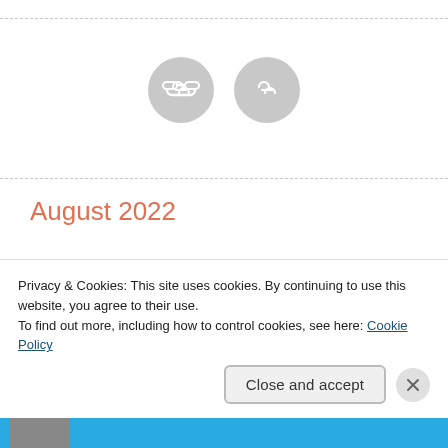[Figure (illustration): Two grey circular icon buttons with link/chain icons, centered horizontally]
August 2022
July 2022
June 2022
Privacy & Cookies: This site uses cookies. By continuing to use this website, you agree to their use.
To find out more, including how to control cookies, see here: Cookie Policy
Close and accept